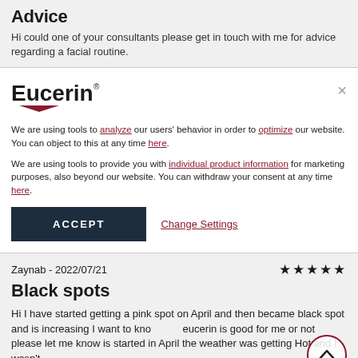Advice
Hi could one of your consultants please get in touch with me for advice regarding a facial routine.
[Figure (logo): Eucerin brand logo with red chevron underneath]
We are using tools to analyze our users' behavior in order to optimize our website. You can object to this at any time here.
We are using tools to provide you with individual product information for marketing purposes, also beyond our website. You can withdraw your consent at any time here.
ACCEPT
Change Settings
Zaynab - 2022/07/21
Black spots
Hi I have started getting a pink spot on April and then became black spot and is increasing I want to know eucerin is good for me or not please let me know is started in April the weather was getting Hot and I wasn't